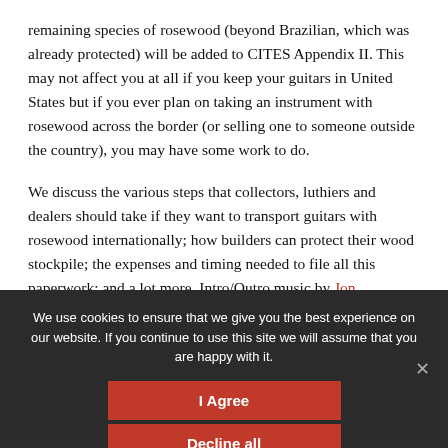remaining species of rosewood (beyond Brazilian, which was already protected) will be added to CITES Appendix II. This may not affect you at all if you keep your guitars in United States but if you ever plan on taking an instrument with rosewood across the border (or selling one to someone outside the country), you may have some work to do.
We discuss the various steps that collectors, luthiers and dealers should take if they want to transport guitars with rosewood internationally; how builders can protect their wood stockpile; the expenses and timing needed to file all this paperwork; and a lot more. Intro/Outro music by Jon Rauhouse.
We use cookies to ensure that we give you the best experience on our website. If you continue to use this site we will assume that you are happy with it.
I Agree
Decline all